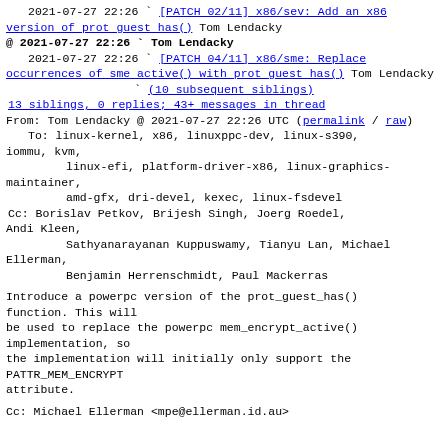2021-07-27 22:26 ` [PATCH 02/11] x86/sev: Add an x86 version of prot guest has() Tom Lendacky
@ 2021-07-27 22:26 ` Tom Lendacky
2021-07-27 22:26 ` [PATCH 04/11] x86/sme: Replace occurrences of sme active() with prot guest has() Tom Lendacky
` (10 subsequent siblings)
13 siblings, 0 replies; 43+ messages in thread
From: Tom Lendacky @ 2021-07-27 22:26 UTC (permalink / raw)
To: linux-kernel, x86, linuxppc-dev, linux-s390, iommu, kvm, linux-efi, platform-driver-x86, linux-graphics-maintainer, amd-gfx, dri-devel, kexec, linux-fsdevel
Cc: Borislav Petkov, Brijesh Singh, Joerg Roedel, Andi Kleen, Sathyanarayanan Kuppuswamy, Tianyu Lan, Michael Ellerman, Benjamin Herrenschmidt, Paul Mackerras
Introduce a powerpc version of the prot_guest_has() function. This will be used to replace the powerpc mem_encrypt_active() implementation, so the implementation will initially only support the PATTR_MEM_ENCRYPT attribute.
Cc: Michael Ellerman <mpe@ellerman.id.au>